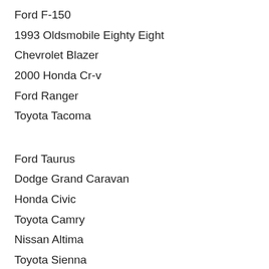Ford F-150
1993 Oldsmobile Eighty Eight
Chevrolet Blazer
2000 Honda Cr-v
Ford Ranger
Toyota Tacoma
Ford Taurus
Dodge Grand Caravan
Honda Civic
Toyota Camry
Nissan Altima
Toyota Sienna
Nissan Altima
Ford Ranger